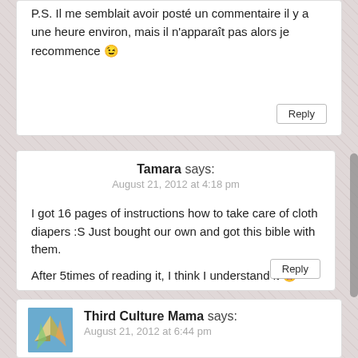P.S. Il me semblait avoir posté un commentaire il y a une heure environ, mais il n'apparaît pas alors je recommence 😉
Reply
Tamara says:
August 21, 2012 at 4:18 pm
I got 16 pages of instructions how to take care of cloth diapers :S Just bought our own and got this bible with them.

After 5times of reading it, I think I understand it 😀

I have two copies, tell me if you are interested 😉
Reply
Third Culture Mama says:
August 21, 2012 at 6:44 pm
[Figure (photo): Thumbnail image of colorful paper airplanes on a blue background]